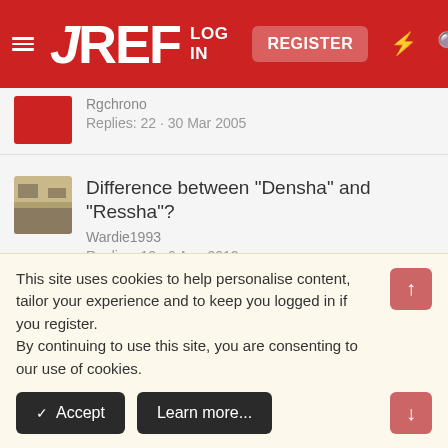JREF — LOG IN | REGISTER
Rgchrono
Replies: 22 · 30 Mar 2005
Difference between "Densha" and "Ressha"?
Wardie1993
Replies: 10 · 6 Aug 2012
Difference between -nakute and -naide form.
Tsurugi
Replies: 3 · 24 Apr 2008
Differences between 'arimasu' and 'desu'?
This site uses cookies to help personalise content, tailor your experience and to keep you logged in if you register.
By continuing to use this site, you are consenting to our use of cookies.